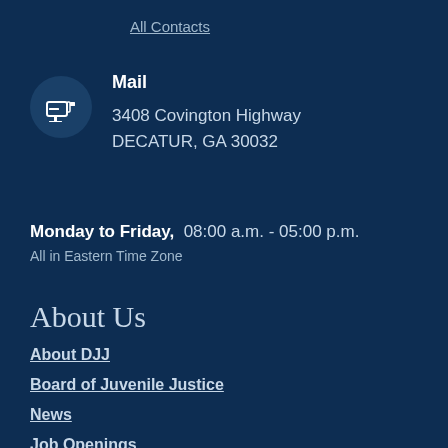All Contacts
Mail
3408 Covington Highway
DECATUR, GA 30032
Monday to Friday,  08:00 a.m. - 05:00 p.m.
All in Eastern Time Zone
About Us
About DJJ
Board of Juvenile Justice
News
Job Openings